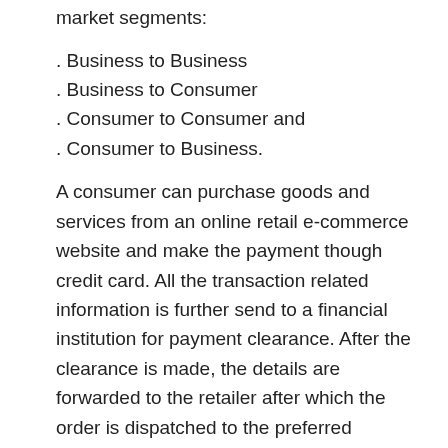market segments:
. Business to Business
. Business to Consumer
. Consumer to Consumer and
. Consumer to Business.
A consumer can purchase goods and services from an online retail e-commerce website and make the payment though credit card. All the transaction related information is further send to a financial institution for payment clearance. After the clearance is made, the details are forwarded to the retailer after which the order is dispatched to the preferred location. In any e-commerce business, all the personal and account information is kept confidential through the use of secure encryption technology.
Key benefits of e-commerce business